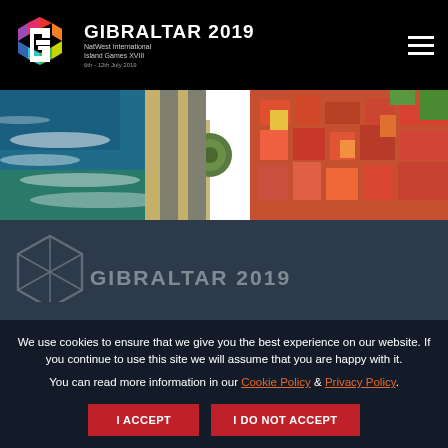[Figure (logo): Gibraltar 2019 NatWest International Island Games XVIII logo with colorful hexagon G shape and text]
[Figure (photo): Aerial view of Gibraltar coastline showing beach, ocean waves, roundabout, road and colorful buildings from above]
We use cookies to ensure that we give you the best experience on our website. If you continue to use this site we will assume that you are happy with it.
You can read more information in our Cookie Policy & Privacy Policy.